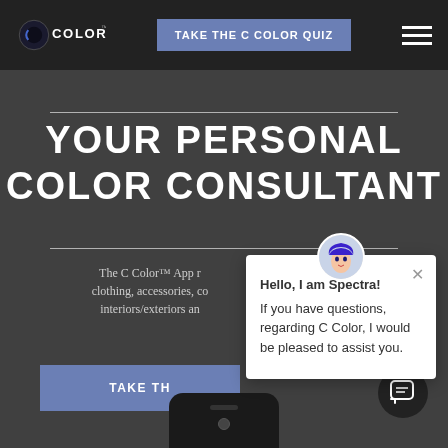C COLOR™ | TAKE THE C COLOR QUIZ
YOUR PERSONAL COLOR CONSULTANT
The C Color™ App recommends clothing, accessories, cosmetics, interiors/exteriors and...
TAKE TH[E C COLOR QUIZ]
[Figure (screenshot): Chat popup with animated avatar character named Spectra. Text reads: Hello, I am Spectra! If you have questions, regarding C Color, I would be pleased to assist you.]
[Figure (illustration): Chat icon button at bottom right of page]
[Figure (illustration): Bottom of a mobile phone visible at the bottom center of the page]